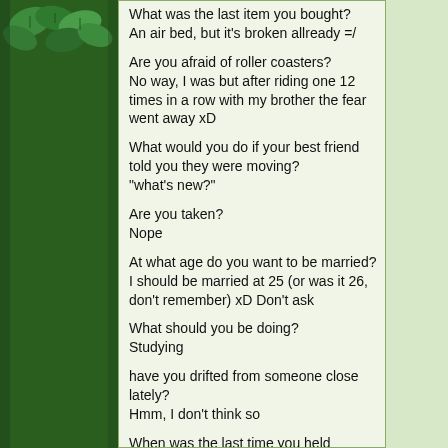What was the last item you bought?
An air bed, but it's broken allready =/
Are you afraid of roller coasters?
No way, I was but after riding one 12 times in a row with my brother the fear went away xD
What would you do if your best friend told you they were moving?
"what's new?"
Are you taken?
Nope
At what age do you want to be married?
I should be married at 25 (or was it 26, don't remember) xD Don't ask
What should you be doing?
Studying
have you drifted from someone close lately?
Hmm, I don't think so
When was the last time you held someone's hand?
Uhm. Don't remember. Apparently a long time ago xD
Who can you tell everything to?
My best friend, and to my closest friends
Have you ever kissed anyone who's name started